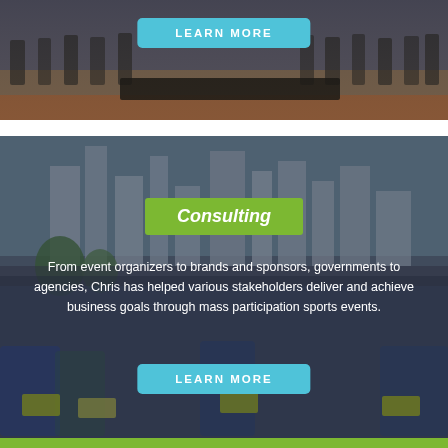[Figure (photo): Group of people on a stage at a formal event, dimly lit with beige/red draping backdrop]
LEARN MORE
[Figure (photo): Large crowd of marathon runners with race bibs at start line, city skyline visible in background, Singapore setting]
Consulting
From event organizers to brands and sponsors, governments to agencies, Chris has helped various stakeholders deliver and achieve business goals through mass participation sports events.
LEARN MORE